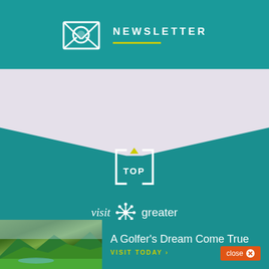[Figure (logo): Newsletter header banner with envelope icon and NEWSLETTER text with yellow underline on teal background]
[Figure (illustration): Light lavender/grey wave shape transitioning to teal background]
[Figure (logo): TOP navigation button with square bracket design and yellow triangle on teal background]
[Figure (logo): Visit Greater Palm Springs logo in white text on teal background]
close
[Figure (photo): Golf course aerial photo showing green fairways]
A Golfer's Dream Come True
VISIT TODAY ›